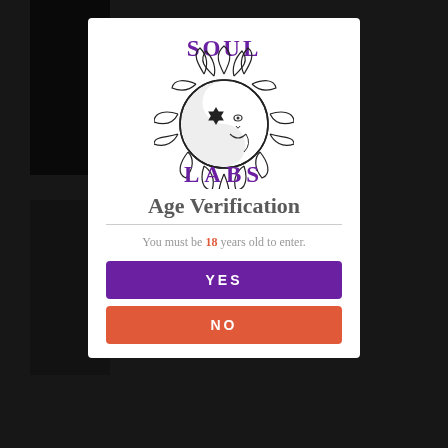[Figure (screenshot): Age verification modal popup for Soul Labs website with a sun/moon yin-yang logo, 'SOUL LABS' text in purple, 'Age Verification' heading, subtext 'You must be 18 years old to enter.', a purple YES button, and a red NO button. Background shows a dark website layout partially visible.]
SOUL LABS
Age Verification
You must be 18 years old to enter.